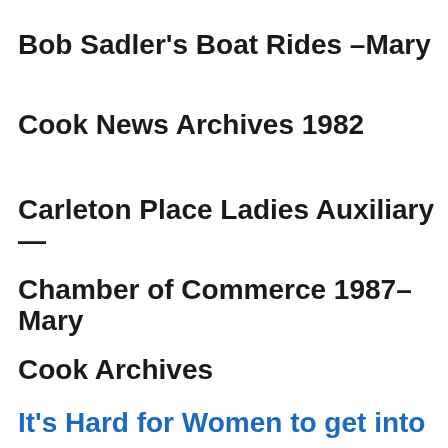Bob Sadler's Boat Rides –Mary
Cook News Archives 1982
Carleton Place Ladies Auxiliary —
Chamber of Commerce 1987– Mary
Cook Archives
It's Hard for Women to get into